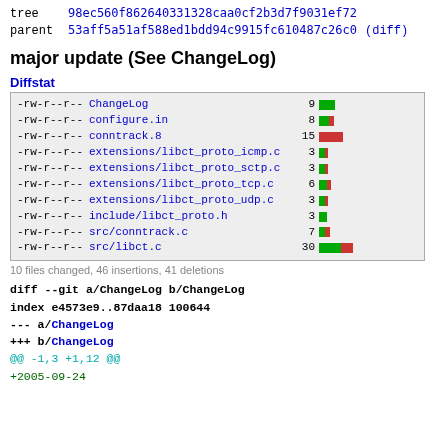tree 98ec560f862640331328caa0cf2b3d7f9031ef72
parent 53aff5a51af588ed1bdd94c9915fc610487c26c0 (diff)
major update (See ChangeLog)
Diffstat
| permissions | file | count | bar |
| --- | --- | --- | --- |
| -rw-r--r-- | ChangeLog | 9 | green |
| -rw-r--r-- | configure.in | 8 | mixed |
| -rw-r--r-- | conntrack.8 | 15 | red-large |
| -rw-r--r-- | extensions/libct_proto_icmp.c | 3 | mixed-small |
| -rw-r--r-- | extensions/libct_proto_sctp.c | 3 | mixed-small |
| -rw-r--r-- | extensions/libct_proto_tcp.c | 6 | mixed-small |
| -rw-r--r-- | extensions/libct_proto_udp.c | 3 | mixed-small |
| -rw-r--r-- | include/libct_proto.h | 3 | green-small |
| -rw-r--r-- | src/conntrack.c | 7 | mixed |
| -rw-r--r-- | src/libct.c | 30 | green-red-large |
10 files changed, 46 insertions, 41 deletions
diff --git a/ChangeLog b/ChangeLog
index e4573e9..87daa18 100644
--- a/ChangeLog
+++ b/ChangeLog
@@ -1,3 +1,12 @@
+2005-09-24